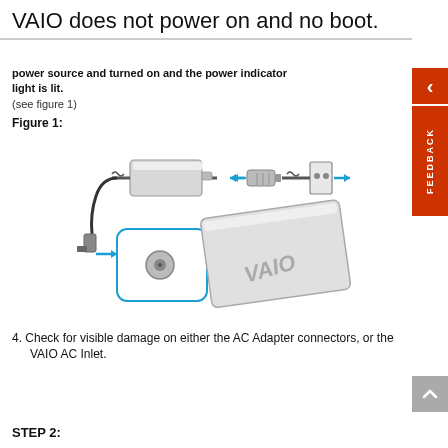VAIO does not power on and no boot.
power source and turned on and the power indicator light is lit.
(see figure 1)
Figure 1:
[Figure (engineering-diagram): Diagram showing AC adapter connected via cable to laptop (VAIO). Power connector plugged into wall outlet on right. Cable from adapter leads down to power inlet on the laptop. Blue arrows indicate direction of connections.]
4. Check for visible damage on either the AC Adapter connectors, or the VAIO AC Inlet.
STEP 2: